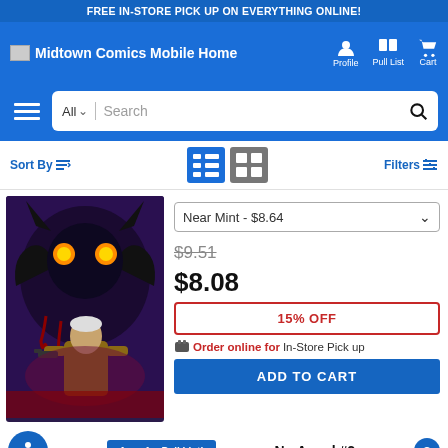FREE IN-STORE PICK UP ON EVERYTHING ONLINE!
Midtown Comics Mobile Home
Profile | Pull List | Cart
Sort By | Filters
[Figure (illustration): Comic book cover art showing a large dark monster/villain with glowing orange eyes looming over a man holding a gun]
Near Mint - $8.64
$9.51 (strikethrough original price)
$8.08
15% OFF
Order online for In-Store Pick up
ADD TO CART
Available for Pull List!
No Angel #2